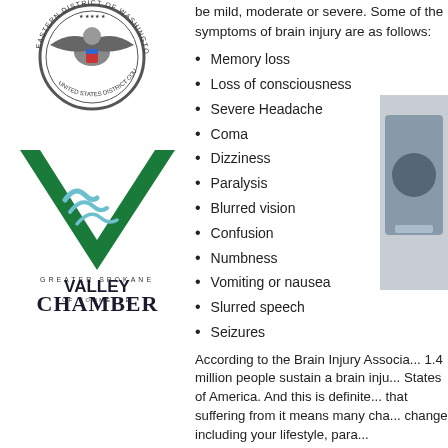[Figure (logo): Eastern District of Washington US Court seal logo, circular emblem with eagle]
[Figure (logo): Greater Spokane Valley Chamber of Commerce logo, green V shape with wave lines]
be mild, moderate or severe. Some of the symptoms of brain injury are as follows:
Memory loss
Loss of consciousness
Severe Headache
Coma
Dizziness
Paralysis
Blurred vision
Confusion
Numbness
Vomiting or nausea
Slurred speech
Seizures
[Figure (photo): Partial photo of an object, partially cropped on the right side of the page]
According to the Brain Injury Associa... 1.4 million people sustain a brain inju... States of America. And this is definite... that suffering from it means many cha... change including your lifestyle, para...